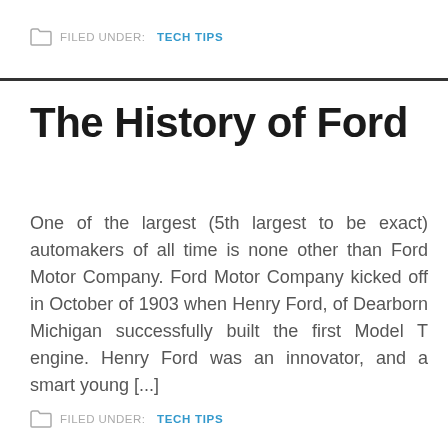FILED UNDER: TECH TIPS
The History of Ford
One of the largest (5th largest to be exact) automakers of all time is none other than Ford Motor Company. Ford Motor Company kicked off in October of 1903 when Henry Ford, of Dearborn Michigan successfully built the first Model T engine. Henry Ford was an innovator, and a smart young [...]
FILED UNDER: TECH TIPS